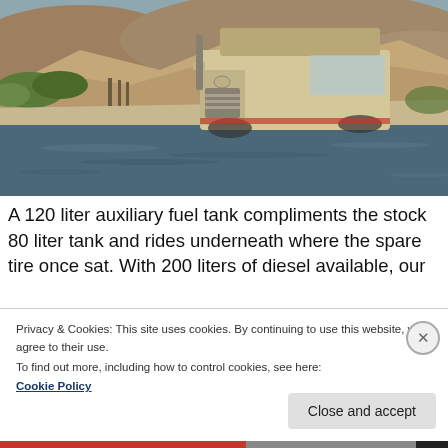[Figure (photo): A Toyota Land Cruiser 4WD vehicle crossing a shallow river or water crossing in a desert/arid landscape. The vehicle is tan/beige colored with a rooftop box. Hills and sparse vegetation visible in the background.]
A 120 liter auxiliary fuel tank compliments the stock 80 liter tank and rides underneath where the spare tire once sat. With 200 liters of diesel available, our
Privacy & Cookies: This site uses cookies. By continuing to use this website, you agree to their use.
To find out more, including how to control cookies, see here:
Cookie Policy